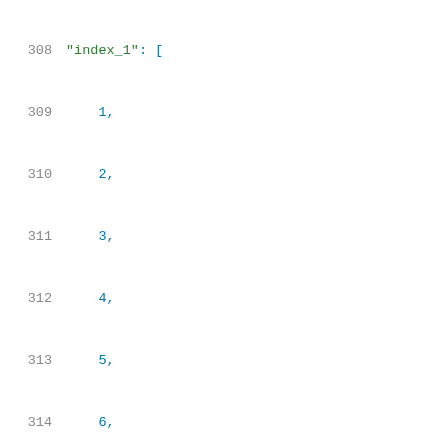308  "index_1": [
309      1,
310      2,
311      3,
312      4,
313      5,
314      6,
315      7,
316      8,
317      9,
318      10,
319      11,
320      12,
321      13
322  ],
323  "index_2": [
324      1,
325      2,
326      3,
327      4,
328      5,
329      6,